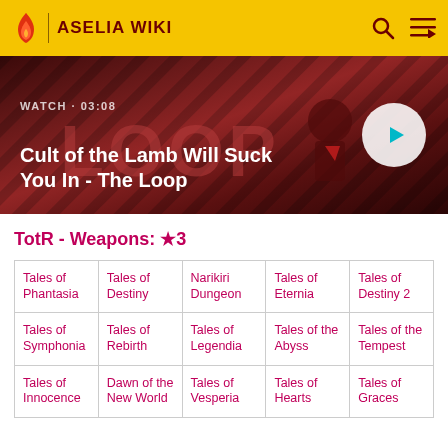ASELIA WIKI
[Figure (screenshot): Video thumbnail for 'Cult of the Lamb Will Suck You In - The Loop' with WATCH · 03:08 label and play button]
TotR - Weapons: ★3
| Tales of Phantasia | Tales of Destiny | Narikiri Dungeon | Tales of Eternia | Tales of Destiny 2 |
| Tales of Symphonia | Tales of Rebirth | Tales of Legendia | Tales of the Abyss | Tales of the Tempest |
| Tales of Innocence | Dawn of the New World | Tales of Vesperia | Tales of Hearts | Tales of Graces |